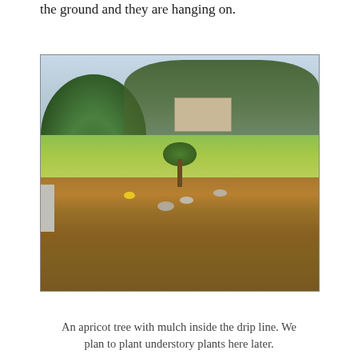the ground and they are hanging on.
[Figure (photo): An outdoor scene showing a mulched garden area in the foreground with a small young apricot tree planted in it, surrounded by rocks and straw mulch. A large dense shrub is visible on the left, with a grassy field and background trees and a house in the distance.]
An apricot tree with mulch inside the drip line. We plan to plant understory plants here later.